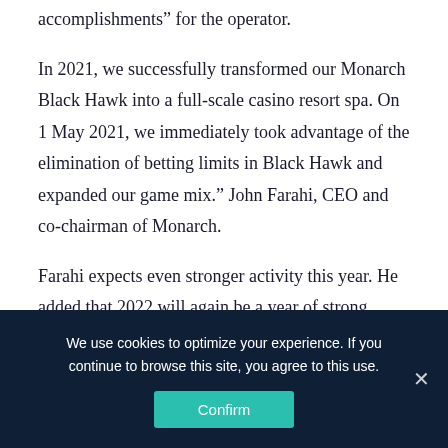accomplishments" for the operator.
In 2021, we successfully transformed our Monarch Black Hawk into a full-scale casino resort spa. On 1 May 2021, we immediately took advantage of the elimination of betting limits in Black Hawk and expanded our game mix.” John Farahi, CEO and co-chairman of Monarch.
Farahi expects even stronger activity this year. He added that 2022 will again be a year of strong operational
We use cookies to optimize your experience. If you continue to browse this site, you agree to this use.
Confirm